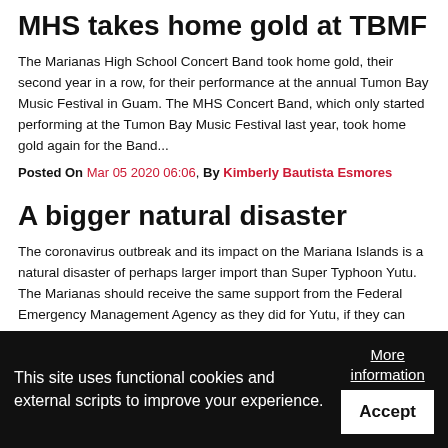MHS takes home gold at TBMF
The Marianas High School Concert Band took home gold, their second year in a row, for their performance at the annual Tumon Bay Music Festival in Guam. The MHS Concert Band, which only started performing at the Tumon Bay Music Festival last year, took home gold again for the Band...
Posted On Mar 05 2020 06:06, By Kimberly Bautista Esmores
A bigger natural disaster
The coronavirus outbreak and its impact on the Mariana Islands is a natural disaster of perhaps larger import than Super Typhoon Yutu. The Marianas should receive the same support from the Federal Emergency Management Agency as they did for Yutu, if they can adapt to a new form...
This site uses functional cookies and external scripts to improve your experience.
More information
Accept